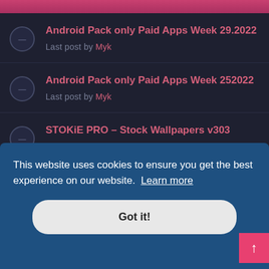Android Pack only Paid Apps Week 29.2022
Last post by Myk
Android Pack only Paid Apps Week 252022
Last post by Myk
STOKiE PRO – Stock Wallpapers v303
Last post by Myk
Android Pack only Paid Apps Week 27.2022
Last post by Myk
Photo Sherlock Search by photo V1...
Last post by Myk
This website uses cookies to ensure you get the best experience on our website. Learn more
Got it!